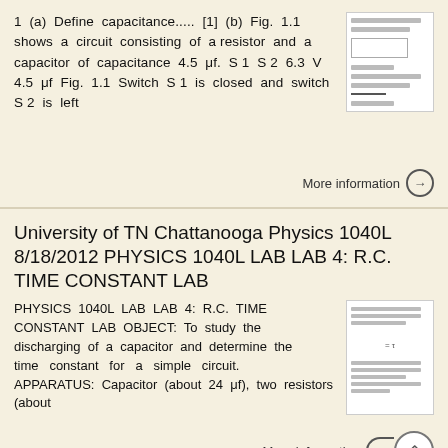1 (a) Define capacitance..... [1] (b) Fig. 1.1 shows a circuit consisting of a resistor and a capacitor of capacitance 4.5 μf. S 1 S 2 6.3 V 4.5 μf Fig. 1.1 Switch S 1 is closed and switch S 2 is left
[Figure (other): Thumbnail image of a document page showing a circuit diagram with lines and labels]
More information →
University of TN Chattanooga Physics 1040L 8/18/2012 PHYSICS 1040L LAB LAB 4: R.C. TIME CONSTANT LAB
PHYSICS 1040L LAB LAB 4: R.C. TIME CONSTANT LAB OBJECT: To study the discharging of a capacitor and determine the time constant for a simple circuit. APPARATUS: Capacitor (about 24 μf), two resistors (about
[Figure (other): Thumbnail image of a lab document page with text and a formula]
More information →